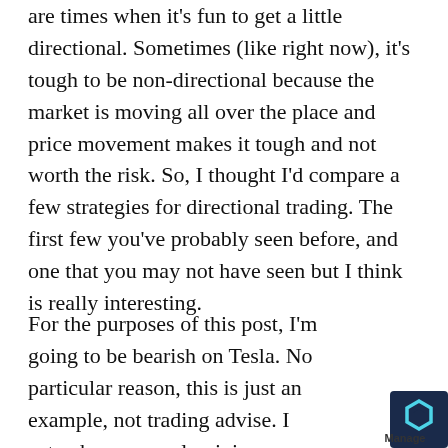are times when it's fun to get a little directional. Sometimes (like right now), it's tough to be non-directional because the market is moving all over the place and price movement makes it tough and not worth the risk. So, I thought I'd compare a few strategies for directional trading. The first few you've probably seen before, and one that you may not have seen but I think is really interesting.
For the purposes of this post, I'm going to be bearish on Tesla. No particular reason, this is just an example, not trading advise. I actua have no real opinion on Tesla, but it's a hi priced stock (around $235/share) so it m for a good example. Of course shorting
[Figure (logo): Manage logo with hexagonal icon in dark navy/teal blue color, page curl effect at bottom right corner]